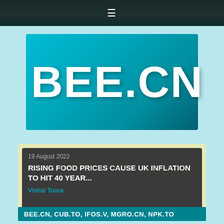≡
[Figure (logo): BEE.CN logo on teal gradient background]
19 August 2022
RISING FOOD PRICES CAUSE UK INFLATION TO HIT 40 YEAR...
Vishal Toora
BEE.CN, CUB.TO, IFOS.V, MGRO.CN, NPK.TO